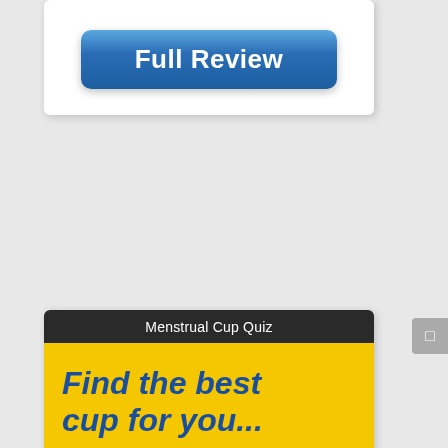[Figure (screenshot): Blue 'Full Review' button on a white card]
[Figure (infographic): Menstrual Cup Quiz widget with dark header, yellow background, italic blue text 'Find the best cup for you...', and clipboard illustration with checklist and pen]